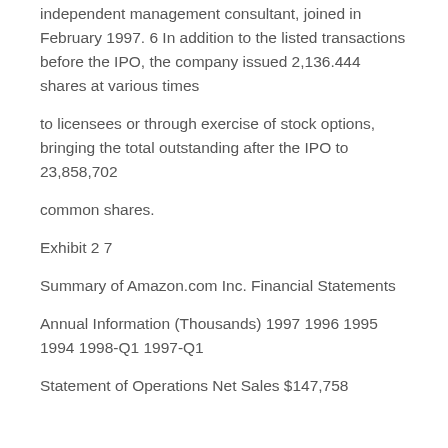independent management consultant, joined in February 1997. 6 In addition to the listed transactions before the IPO, the company issued 2,136.444 shares at various times
to licensees or through exercise of stock options, bringing the total outstanding after the IPO to 23,858,702
common shares.
Exhibit 2 7
Summary of Amazon.com Inc. Financial Statements
Annual Information (Thousands) 1997 1996 1995 1994 1998-Q1 1997-Q1
Statement of Operations Net Sales $147,758